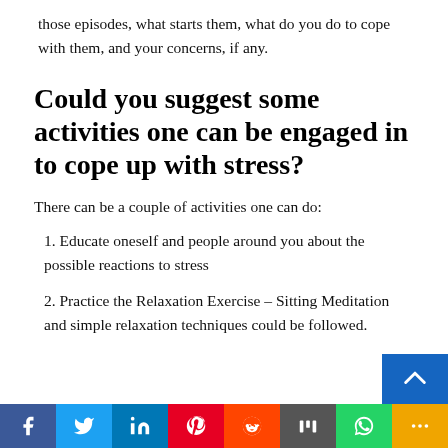those episodes, what starts them, what do you do to cope with them, and your concerns, if any.
Could you suggest some activities one can be engaged in to cope up with stress?
There can be a couple of activities one can do:
1. Educate oneself and people around you about the possible reactions to stress
2. Practice the Relaxation Exercise – Sitting Meditation and simple relaxation techniques could be followed.
[Figure (other): Social media sharing bar with Facebook, Twitter, LinkedIn, Pinterest, Reddit, Mix, WhatsApp, and More buttons, plus a scroll-to-top button]